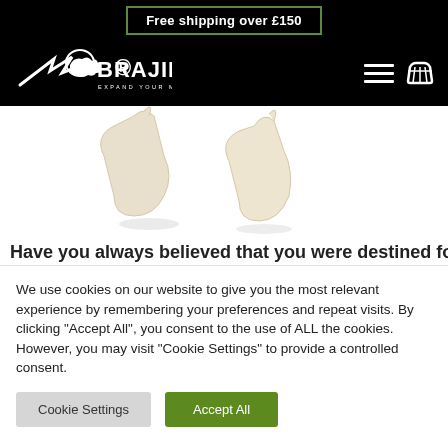Free shipping over £150
[Figure (logo): XBrain logo with brain graphic and tagline EXPAND YOUR MIND on black background]
[Figure (photo): Partial product image showing cream/white colored 3D puzzle or brain teaser pieces on white background]
Have you always believed that you were destined for
We use cookies on our website to give you the most relevant experience by remembering your preferences and repeat visits. By clicking "Accept All", you consent to the use of ALL the cookies. However, you may visit "Cookie Settings" to provide a controlled consent.
Cookie Settings | Accept All